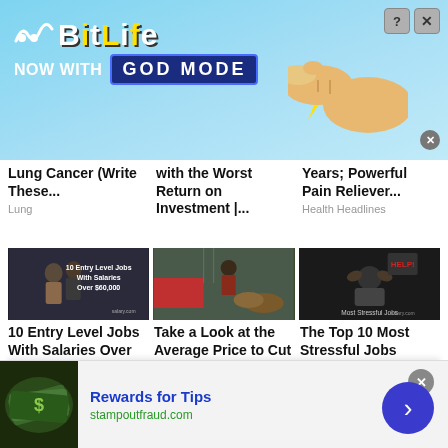[Figure (screenshot): BitLife advertisement banner — 'BitLife NOW WITH GOD MODE' on light blue background with cartoon hand pointing right]
Lung Cancer (Write These...
Lung
with the Worst Return on Investment |...
Years; Powerful Pain Reliever...
Health Headlines
[Figure (photo): 10 Entry Level Jobs With Salaries Over $60,000 — two people standing, salary.com branded image]
[Figure (photo): Person chopping wood next to a red vehicle]
[Figure (photo): Most Stressful Jobs — person with head in hands, salary.com branded dark image]
10 Entry Level Jobs With Salaries Over
Take a Look at the Average Price to Cut Down a...
The Top 10 Most Stressful Jobs
This site uses cookies and other similar technologies to provide site functionality, analyze traffic and usage, and
[Figure (photo): Rewards for Tips advertisement — money/cash image, stampoutfraud.com]
Rewards for Tips
stampoutfraud.com